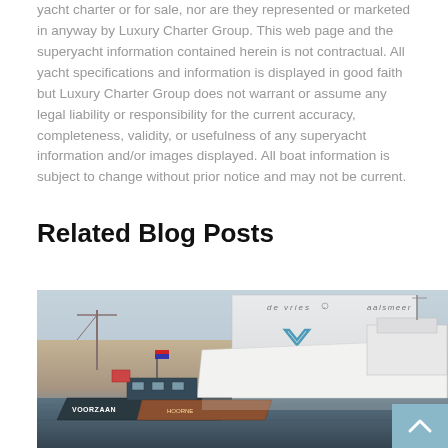yacht charter or for sale, nor are they represented or marketed in anyway by Luxury Charter Group. This web page and the superyacht information contained herein is not contractual. All yacht specifications and information is displayed in good faith but Luxury Charter Group does not warrant or assume any legal liability or responsibility for the current accuracy, completeness, validity, or usefulness of any superyacht information and/or images displayed. All boat information is subject to change without prior notice and may not be current.
Related Blog Posts
[Figure (photo): Photograph of a large white superyacht emerging from a shipyard building (de vries, aalsmeer), with a smaller tugboat named VOORZAAN in the foreground on the water.]